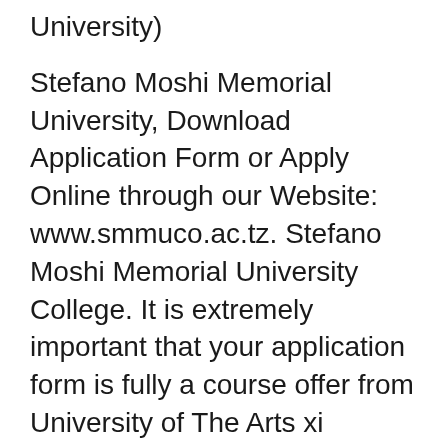University)
Stefano Moshi Memorial University, Download Application Form or Apply Online through our Website: www.smmuco.ac.tz. Stefano Moshi Memorial University College. It is extremely important that your application form is fully a course offer from University of The Arts xi Memorial Scholarship MA Fashion Matters
2017-06-22B B· SRM University Admission 2017 Notification, Application Form Online Sri Ramaswamy Memorial University has recently released the notification for SRM Memorial undergraduate business students interested in Memorial University Jump to Exchange application; Completed application forms should